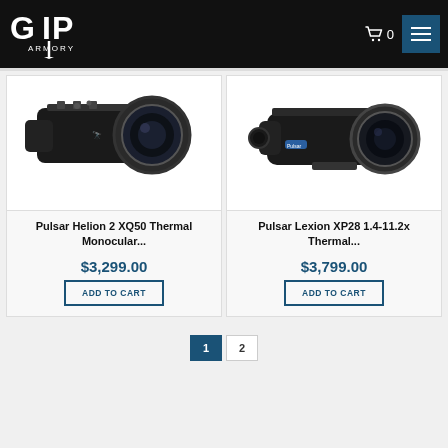[Figure (logo): GIP Armory logo in white on black background]
[Figure (photo): Pulsar Helion 2 XQ50 Thermal Monocular - black device with large lens]
Pulsar Helion 2 XQ50 Thermal Monocular...
$3,299.00
ADD TO CART
[Figure (photo): Pulsar Lexion XP28 1.4-11.2x Thermal Monocular - compact black device]
Pulsar Lexion XP28 1.4-11.2x Thermal...
$3,799.00
ADD TO CART
1   2